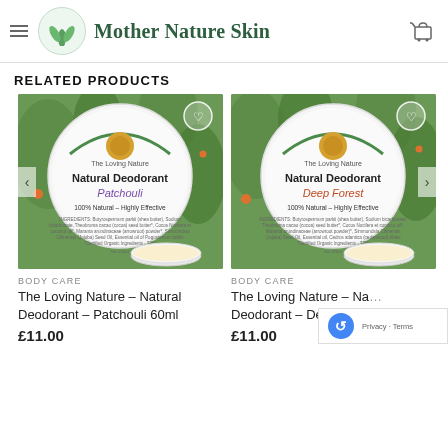Mother Nature Skin
RELATED PRODUCTS
[Figure (photo): Product photo of The Loving Nature Natural Deodorant Patchouli 60ml tin with open lid, surrounded by green foliage and orange flowers]
BODY CARE
The Loving Nature – Natural Deodorant – Patchouli 60ml
£11.00
[Figure (photo): Product photo of The Loving Nature Natural Deodorant Deep Forest tin with open lid, surrounded by green foliage and orange flowers]
BODY CARE
The Loving Nature – Natural Deodorant – Deep Forest
£11.00